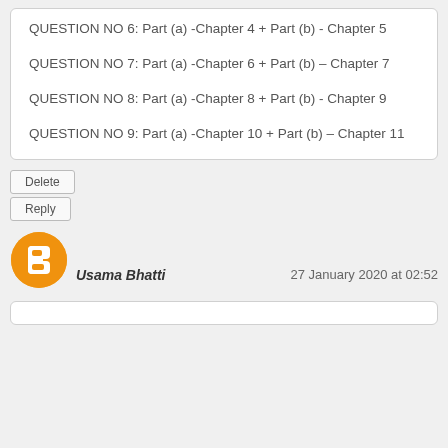QUESTION NO 6: Part (a) -Chapter 4 + Part (b) - Chapter 5
QUESTION NO 7: Part (a) -Chapter 6 + Part (b) – Chapter 7
QUESTION NO 8: Part (a) -Chapter 8 + Part (b) - Chapter 9
QUESTION NO 9: Part (a) -Chapter 10 + Part (b) – Chapter 11
Delete
Reply
[Figure (illustration): Blogger user avatar icon — orange circle with white blogger 'B' logo]
Usama Bhatti
27 January 2020 at 02:52